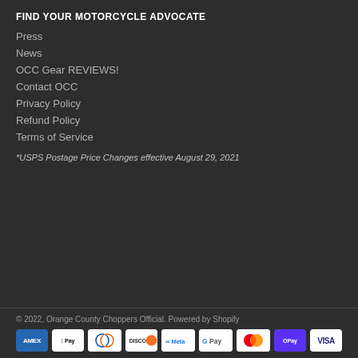FIND YOUR MOTORCYCLE ADVOCATE
Press
News
OCC Gear REVIEWS!
Contact OCC
Privacy Policy
Refund Policy
Terms of Service
*USPS Postage Price Changes effective August 29, 2021
© 2022, Orange County Choppers Official. Powered by Shopify
[Figure (other): Payment method icons: American Express, Apple Pay, Diners Club, Discover, Meta, Google Pay, Mastercard, Shop Pay, Visa]